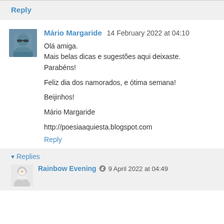Reply
Mário Margaride  14 February 2022 at 04:10
Olá amiga.
Mais belas dicas e sugestões aqui deixaste.
Parabéns!

Feliz dia dos namorados, e ótima semana!

Bejinhos!

Mário Margaride

http://poesiaaquiesta.blogspot.com
Reply
▾ Replies
Rainbow Evening  9 April 2022 at 04:49